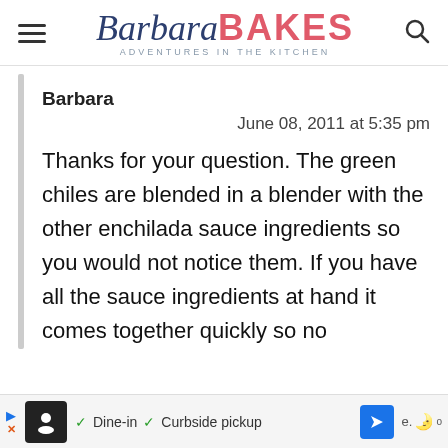Barbara BAKES — ADVENTURES in the KITCHEN
Barbara
June 08, 2011 at 5:35 pm
Thanks for your question. The green chiles are blended in a blender with the other enchilada sauce ingredients so you would not notice them. If you have all the sauce ingredients at hand it comes together quickly so no
[Figure (screenshot): Advertisement bar showing a restaurant icon, checkmarks for Dine-in and Curbside pickup, a blue navigation arrow icon, and temperature/weather info.]